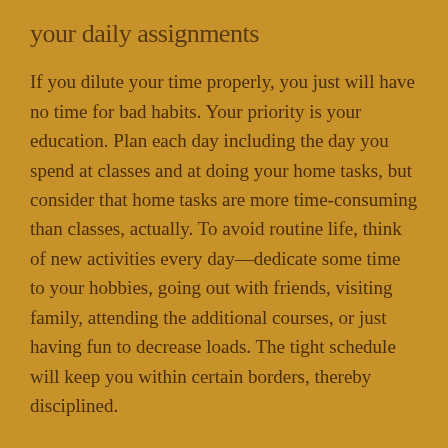your daily assignments
If you dilute your time properly, you just will have no time for bad habits. Your priority is your education. Plan each day including the day you spend at classes and at doing your home tasks, but consider that home tasks are more time-consuming than classes, actually. To avoid routine life, think of new activities every day—dedicate some time to your hobbies, going out with friends, visiting family, attending the additional courses, or just having fun to decrease loads. The tight schedule will keep you within certain borders, thereby disciplined.
Find the kind of sport you like
Physical exercise is a great way to develop your self-discipline and keep your body and mind in tune. If you think you hate sport, then probably you haven't found